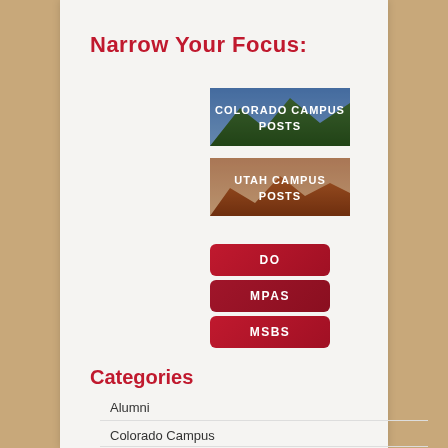Narrow Your Focus:
[Figure (illustration): Colorado Campus Posts banner with mountain background]
[Figure (illustration): Utah Campus Posts banner with landscape background]
[Figure (illustration): DO button - red rounded rectangle]
[Figure (illustration): MPAS button - dark red rounded rectangle]
[Figure (illustration): MSBS button - red rounded rectangle]
Categories
Alumni
Colorado Campus